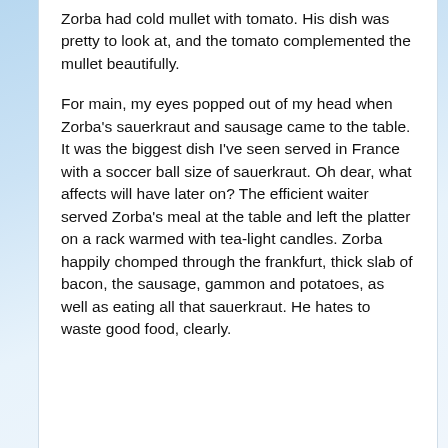Zorba had cold mullet with tomato. His dish was pretty to look at, and the tomato complemented the mullet beautifully.
For main, my eyes popped out of my head when Zorba's sauerkraut and sausage came to the table. It was the biggest dish I've seen served in France with a soccer ball size of sauerkraut. Oh dear, what affects will have later on? The efficient waiter served Zorba's meal at the table and left the platter on a rack warmed with tea-light candles. Zorba happily chomped through the frankfurt, thick slab of bacon, the sausage, gammon and potatoes, as well as eating all that sauerkraut. He hates to waste good food, clearly.